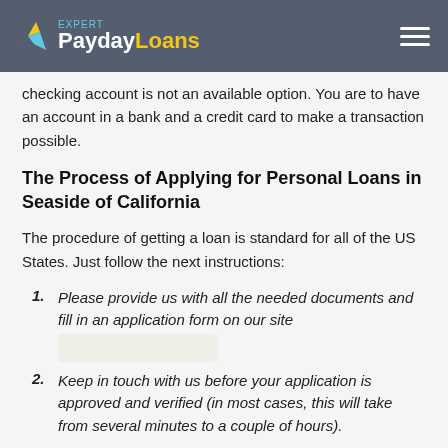Expert PaydayLoans
checking account is not an available option. You are to have an account in a bank and a credit card to make a transaction possible.
The Process of Applying for Personal Loans in Seaside of California
The procedure of getting a loan is standard for all of the US States. Just follow the next instructions:
Please provide us with all the needed documents and fill in an application form on our site
Keep in touch with us before your application is approved and verified (in most cases, this will take from several minutes to a couple of hours).